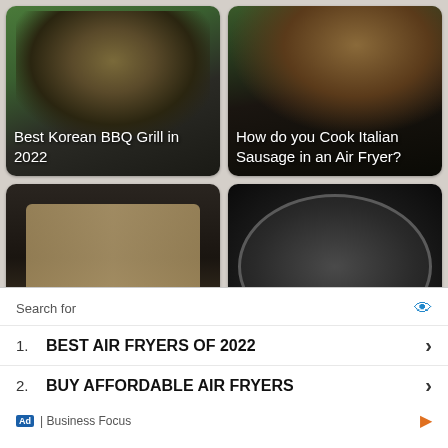[Figure (photo): Korean BBQ grill with meat cooking outdoors on black grill pan, green grass background. Text overlay: Best Korean BBQ Grill in 2022]
[Figure (photo): Italian sausage with vegetables cooking. Text overlay: How do you Cook Italian Sausage in an Air Fryer?]
[Figure (photo): Black air fryer basket with two pieces of haddock fish inside. Text overlay: How to Cook Haddock in Air Fryer]
[Figure (photo): Halogen oven with digital display visible. Text overlay: Which is Better Air Fryer or Halogen Oven?]
[Figure (photo): Partial view of another food image (bottom left, cropped)]
[Figure (photo): Partial view of another food image (bottom right, cropped)]
Search for
1. BEST AIR FRYERS OF 2022
2. BUY AFFORDABLE AIR FRYERS
Ad | Business Focus